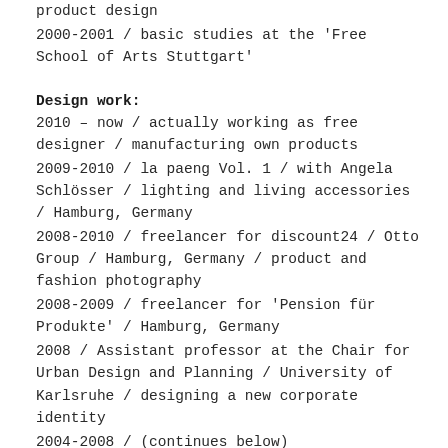product design
2000-2001 / basic studies at the 'Free School of Arts Stuttgart'
Design work:
2010 – now / actually working as free designer / manufacturing own products
2009-2010 / la paeng Vol. 1 / with Angela Schlösser / lighting and living accessories / Hamburg, Germany
2008-2010 / freelancer for discount24 / Otto Group / Hamburg, Germany / product and fashion photography
2008-2009 / freelancer for 'Pension für Produkte' / Hamburg, Germany
2008 / Assistant professor at the Chair for Urban Design and Planning / University of Karlsruhe / designing a new corporate identity
2004-2008 / (continues below)